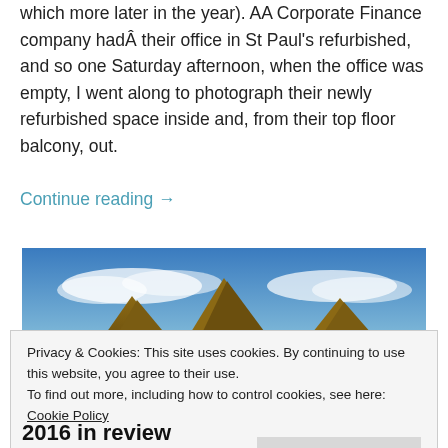which more later in the year). AA Corporate Finance company hadÂ their office in St Paul's refurbished, and so one Saturday afternoon, when the office was empty, I went along to photograph their newly refurbished space inside and, from their top floor balcony, out.
Continue reading →
[Figure (photo): Panoramic photo of rocky mountain peaks against a blue sky with wispy clouds.]
Privacy & Cookies: This site uses cookies. By continuing to use this website, you agree to their use.
To find out more, including how to control cookies, see here: Cookie Policy
Close and accept
2016 in review